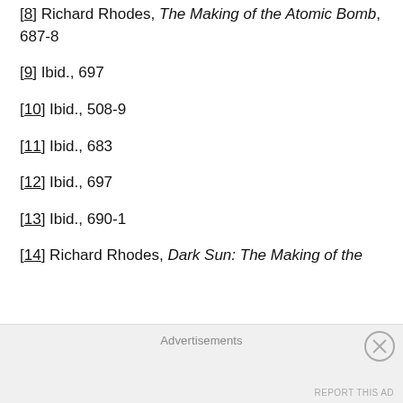[8] Richard Rhodes, The Making of the Atomic Bomb, 687-8
[9] Ibid., 697
[10] Ibid., 508-9
[11] Ibid., 683
[12] Ibid., 697
[13] Ibid., 690-1
[14] Richard Rhodes, Dark Sun: The Making of the
Advertisements
REPORT THIS AD